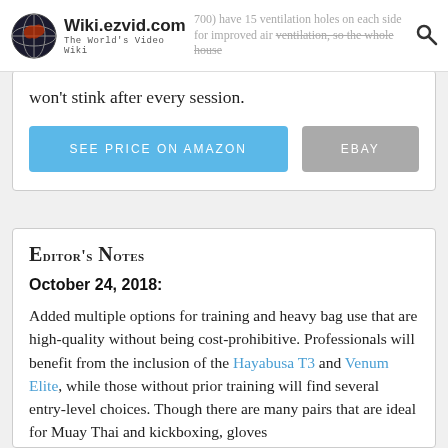Wiki.ezvid.com — The World's Video Wiki
(#700) have 15 ventilation holes on each side for improved air ventilation, so the whole house won't stink after every session.
SEE PRICE ON AMAZON | EBAY
Editor's Notes
October 24, 2018:
Added multiple options for training and heavy bag use that are high-quality without being cost-prohibitive. Professionals will benefit from the inclusion of the Hayabusa T3 and Venum Elite, while those without prior training will find several entry-level choices. Though there are many pairs that are ideal for Muay Thai and kickboxing, gloves